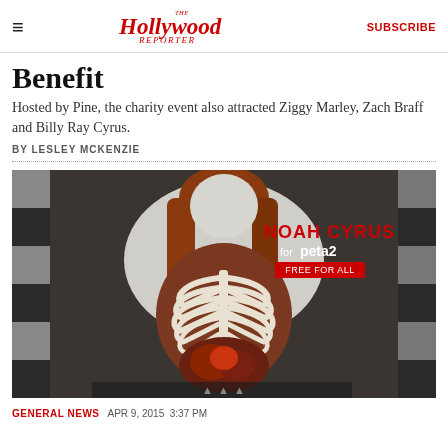The Hollywood Reporter | SUBSCRIBE
Benefit
Hosted by Pine, the charity event also attracted Ziggy Marley, Zach Braff and Billy Ray Cyrus.
BY LESLEY MCKENZIE
[Figure (photo): Noah Cyrus for peta2 advertisement showing a figure with white body paint and exposed rib cage/organs imagery on a checkered background, with 'NOAH CYRUS for peta2 FREE FOR ALL' text overlay in red and white.]
GENERAL NEWS  APR 9, 2015  3:37 PM